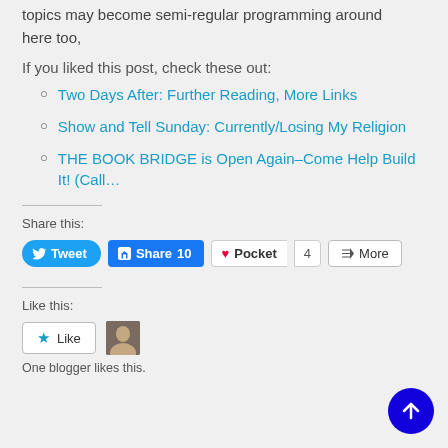topics may become semi-regular programming around here too,
If you liked this post, check these out:
Two Days After: Further Reading, More Links
Show and Tell Sunday: Currently/Losing My Religion
THE BOOK BRIDGE is Open Again–Come Help Build It! (Call…
Share this:
[Figure (other): Social share buttons: Tweet, Share 10, Pocket 4, More]
Like this:
[Figure (other): Like button and blogger avatar. One blogger likes this.]
One blogger likes this.